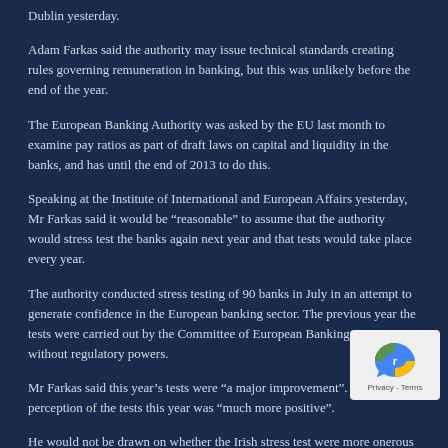Dublin yesterday.
Adam Farkas said the authority may issue technical standards creating rules governing remuneration in banking, but this was unlikely before the end of the year.
The European Banking Authority was asked by the EU last month to examine pay ratios as part of draft laws on capital and liquidity in the banks, and has until the end of 2013 to do this.
Speaking at the Institute of International and European Affairs yesterday, Mr Farkas said it would be “reasonable” to assume that the authority would stress test the banks again next year and that tests would take place every year.
The authority conducted stress testing of 90 banks in July in an attempt to generate confidence in the European banking sector. The previous year the tests were carried out by the Committee of European Banking Supervisors without regulatory powers.
Mr Farkas said this year’s tests were “a major improvement”. Market perception of the tests this year was “much more positive”.
He would not be drawn on whether the Irish stress test were more onerous that the authority’s tests. All three remaining Irish banks – Bank of Ireland, Allied Banks and Irish Life Permanent – tested by the authority in July passed the stress tests.
The authority was criticised by the Irish banks and the...